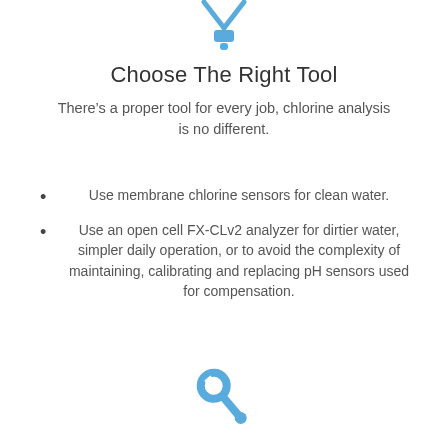[Figure (illustration): Blue funnel/dropper icon at top of page]
Choose The Right Tool
There’s a proper tool for every job, chlorine analysis is no different.
Use membrane chlorine sensors for clean water.
Use an open cell FX-CLv2 analyzer for dirtier water, simpler daily operation, or to avoid the complexity of maintaining, calibrating and replacing pH sensors used for compensation.
[Figure (illustration): Blue wrench/spanner icon at bottom of page]